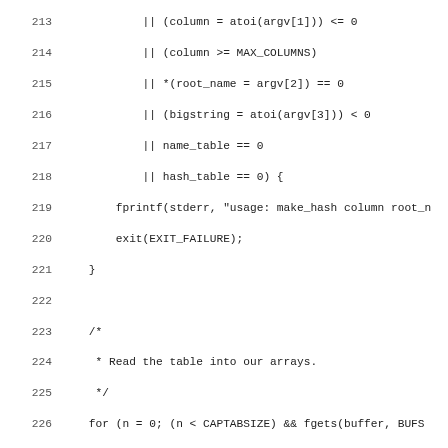[Figure (screenshot): Source code listing showing C code lines 213-244, with line numbers on the left and code content on the right, in monospace font on white background.]